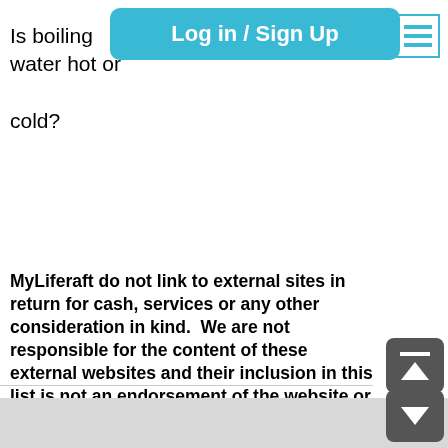Log in / Sign Up
Is boiling water hot or cold?
[Figure (screenshot): Submit Form button - teal rounded rectangle]
MyLiferaft do not link to external sites in return for cash, services or any other consideration in kind.  We are not responsible for the content of these external websites and their inclusion in this list is not an endorsement of the website or the site owner's products or services. MyLiferaft is currently a UK-based product and therefore only features UK-based resources.